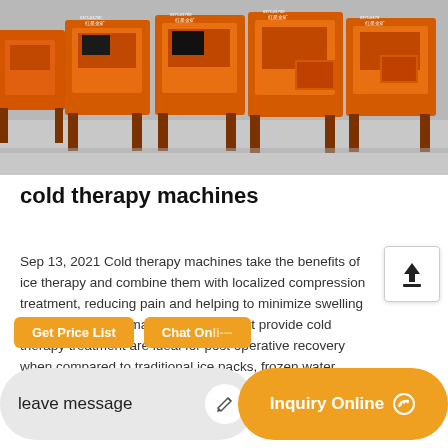[Figure (photo): Row of orange industrial machines (hammer mills/crushers) branded with Chinese text and phone number 0371-61700, displayed in a warehouse or outdoor yard on steel frames.]
cold therapy machines
Sep 13, 2021 Cold therapy machines take the benefits of ice therapy and combine them with localized compression treatment, reducing pain and helping to minimize swelling and heal tissue damage. Machines that provide cold therapy treatment are ideal for post operative recovery when compared to traditional ice packs, frozen water bottles, and ice baths.
Get Price List
Chat Online
leave message
Inquiry Online